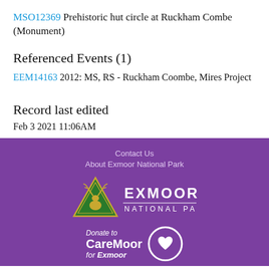MSO12369 Prehistoric hut circle at Ruckham Combe (Monument)
Referenced Events (1)
EEM14163 2012: MS, RS - Ruckham Coombe, Mires Project
Record last edited
Feb 3 2021 11:06AM
Contact Us
About Exmoor National Park
Exmoor National Park logo
Donate to CareMoor for Exmoor